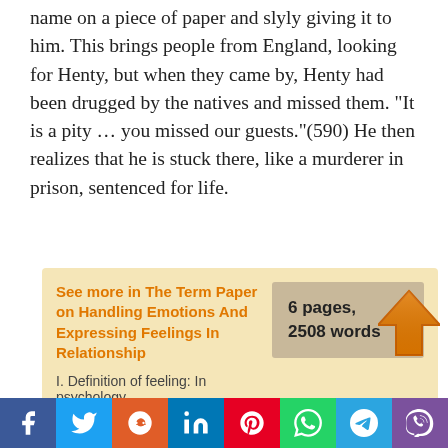passing through the village by scribbling his name on a piece of paper and slyly giving it to him. This brings people from England, looking for Henty, but when they came by, Henty had been drugged by the natives and missed them. "It is a pity … you missed our guests."(590) He then realizes that he is stuck there, like a murderer in prison, sentenced for life.
See more in The Term Paper on Handling Emotions And Expressing Feelings In Relationship
6 pages, 2508 words
I. Definition of feeling: In psychology
[Figure (other): Social media sharing bar with icons for Facebook, Twitter, Reddit, LinkedIn, Pinterest, WhatsApp, Telegram, and Viber]